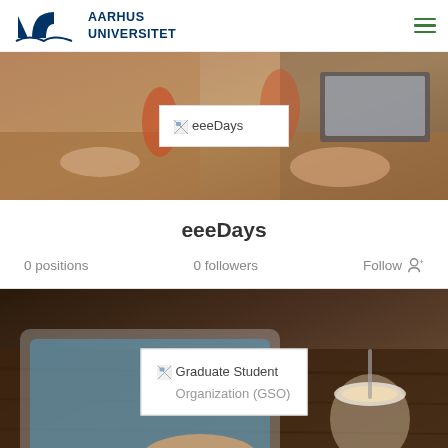[Figure (logo): Aarhus Universitet logo with stylized AU monogram in dark blue]
AARHUS UNIVERSITET
[Figure (photo): Banner photo of people working at a desk with drinks, laptop, notebook. Overlay white box with broken image placeholder text 'eeeDays']
eeeDays
0 positions
0 followers
Follow
[Figure (photo): Banner photo of person using tablet on wooden table with a coffee drink. Overlay white box with broken image placeholder text 'Graduate Student Organization (GSO)']
Graduate Student Organization (GSO)